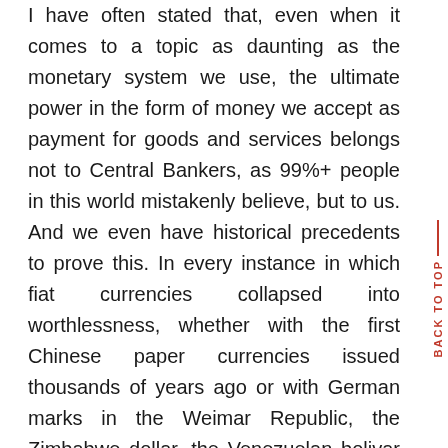I have often stated that, even when it comes to a topic as daunting as the monetary system we use, the ultimate power in the form of money we accept as payment for goods and services belongs not to Central Bankers, as 99%+ people in this world mistakenly believe, but to us. And we even have historical precedents to prove this. In every instance in which fiat currencies collapsed into worthlessness, whether with the first Chinese paper currencies issued thousands of years ago or with German marks in the Weimar Republic, the Zimbabwe dollar, the Venezuelan bolivar fuerte, or the Ukrainian hryvnia in more modern times, the ultimate collapse of these paper currencies into worthlessness was ushered in not by a decision of Central Bankers, but by a decision of the people to